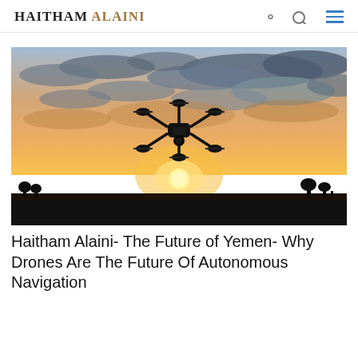HAITHAM ALAINI
[Figure (photo): A drone silhouetted against a dramatic sunset sky with clouds, hovering above a dark horizon.]
Haitham Alaini- The Future of Yemen- Why Drones Are The Future Of Autonomous Navigation